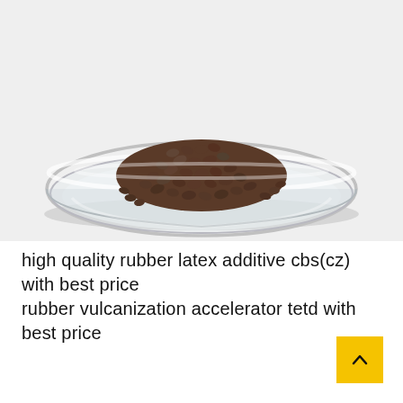[Figure (photo): A glass petri dish containing a pile of small dark brown granular pellets (rubber vulcanization accelerator), photographed on a white background.]
high quality rubber latex additive cbs(cz) with best price
rubber vulcanization accelerator tetd with best price